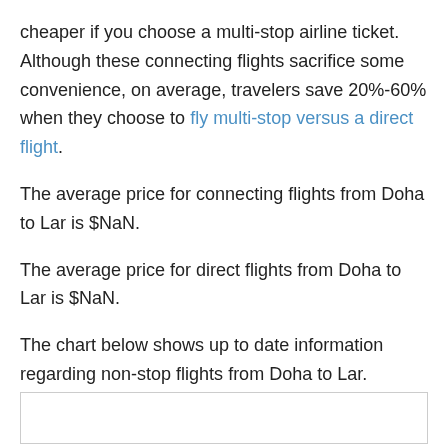cheaper if you choose a multi-stop airline ticket. Although these connecting flights sacrifice some convenience, on average, travelers save 20%-60% when they choose to fly multi-stop versus a direct flight.
The average price for connecting flights from Doha to Lar is $NaN.
The average price for direct flights from Doha to Lar is $NaN.
The chart below shows up to date information regarding non-stop flights from Doha to Lar.
[Figure (other): Empty chart box with border, representing a chart area for non-stop flights from Doha to Lar.]